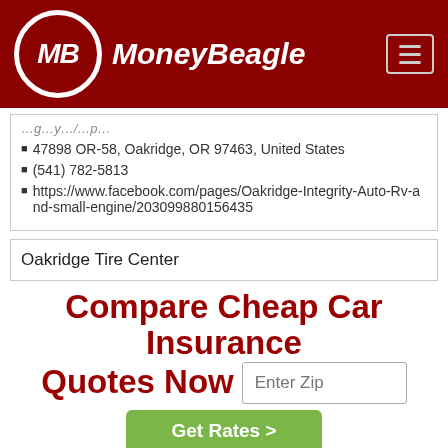MoneyBeagle
47898 OR-58, Oakridge, OR 97463, United States
(541) 782-5813
https://www.facebook.com/pages/Oakridge-Integrity-Auto-Rv-and-small-engine/203099880156435
Oakridge Tire Center
Compare Cheap Car Insurance Quotes Now
Enter Zip
Get Rates >